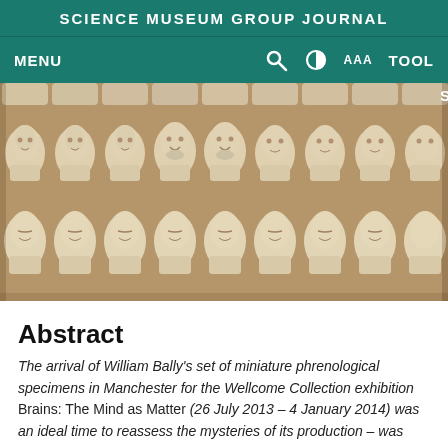SCIENCE MUSEUM GROUP JOURNAL
MENU  AAA  TOOL
[Figure (photo): Rows of miniature plaster phrenological head casts/busts arranged in a grid, showing multiple faces with detailed facial features, cream/beige colored, against a brown background.]
Abstract
The arrival of William Bally’s set of miniature phrenological specimens in Manchester for the Wellcome Collection exhibition Brains: The Mind as Matter (26 July 2013 – 4 January 2014) was an ideal time to reassess the mysteries of its production – was